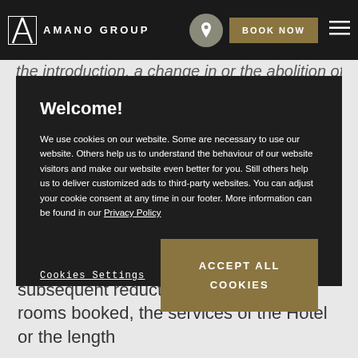AMANO GROUP | BOOK NOW
the introduction, a change in or the abolition of
Welcome!
We use cookies on our website. Some are necessary to use our website. Others help us to understand the behaviour of our website visitors and make our website even better for you. Still others help us to deliver customized ads to third-party websites. You can adjust your cookie consent at any time in our footer. More information can be found in our Privacy Policy
Cookies Settings
ACCEPT ALL COOKIES
The Hotel may make its consent to a subsequent reduction in the number of rooms booked, the services of the Hotel or the length